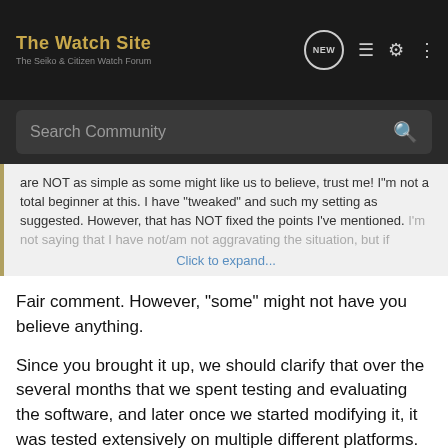The Watch Site — The Seiko & Citizen Watch Forum
Search Community
are NOT as simple as some might like us to believe, trust me! I"m not a total beginner at this. I have "tweaked" and such my setting as suggested. However, that has NOT fixed the points I've mentioned. I'm not saying that I have not/am not aggravating the situation, but if
Click to expand...
Fair comment. However, "some" might not have you believe anything.
Since you brought it up, we should clarify that over the several months that we spent testing and evaluating the software, and later once we started modifying it, it was tested extensively on multiple different platforms. We tested performance, stability and consistency of functions on various different operating systems (Windows NT and up, Mac OS, and Linux), and web browsers (IE, FF, Chrome, Opera and a few mobile ones).